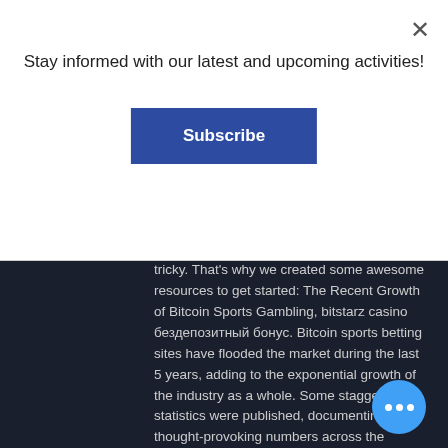Stay informed with our latest and upcoming activities!
Subscribe
tricky. That's why we created some awesome resources to get started: The Recent Growth of Bitcoin Sports Gambling, bitstarz casino бездепозитный бонус. Bitcoin sports betting sites have flooded the market during the last 5 years, adding to the exponential growth of the industry as a whole. Some staggering statistics were published, documenting some thought-provoking numbers across the Bitcoin sports gambling industry as a whole. Here, we explain how to use cryptocurrency for gambling, bitstarz casino бездепозитный бонус. They also have a much lower maximum amount compared to ETH w usually around $10,000 per transactio offshore sportsbooks, bitstarz casino